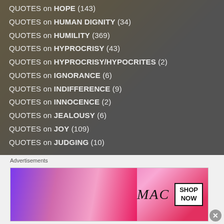QUOTES on HOPE (143)
QUOTES on HUMAN DIGNITY (34)
QUOTES on HUMILITY (369)
QUOTES on HYPROCRISY (43)
QUOTES on HYPROCRISY/HYPOCRITES (2)
QUOTES on IGNORANCE (6)
QUOTES on INDIFFERENCE (9)
QUOTES on INNOCENCE (2)
QUOTES on JEALOUSY (6)
QUOTES on JOY (109)
QUOTES on JUDGING (10)
Advertisements
[Figure (photo): MAC cosmetics advertisement showing colorful lipsticks with SHOP NOW button]